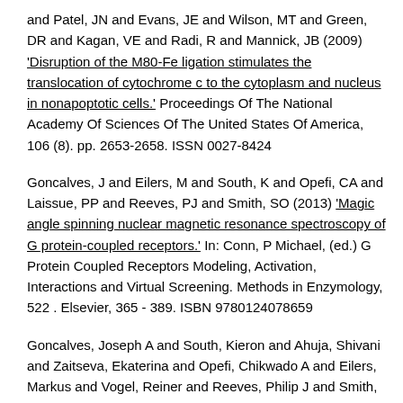and Patel, JN and Evans, JE and Wilson, MT and Green, DR and Kagan, VE and Radi, R and Mannick, JB (2009) 'Disruption of the M80-Fe ligation stimulates the translocation of cytochrome c to the cytoplasm and nucleus in nonapoptotic cells.' Proceedings Of The National Academy Of Sciences Of The United States Of America, 106 (8). pp. 2653-2658. ISSN 0027-8424
Goncalves, J and Eilers, M and South, K and Opefi, CA and Laissue, PP and Reeves, PJ and Smith, SO (2013) 'Magic angle spinning nuclear magnetic resonance spectroscopy of G protein-coupled receptors.' In: Conn, P Michael, (ed.) G Protein Coupled Receptors Modeling, Activation, Interactions and Virtual Screening. Methods in Enzymology, 522 . Elsevier, 365 - 389. ISBN 9780124078659
Goncalves, Joseph A and South, Kieron and Ahuja, Shivani and Zaitseva, Ekaterina and Opefi, Chikwado A and Eilers, Markus and Vogel, Reiner and Reeves, Philip J and Smith, Steven O (2010) 'Highly conserved tyrosine stabilizes the active state of rhodopsin.' Proceedings of the National Academy of Sciences, 107 (46). pp. 19861-19866. ISSN 0027-8424